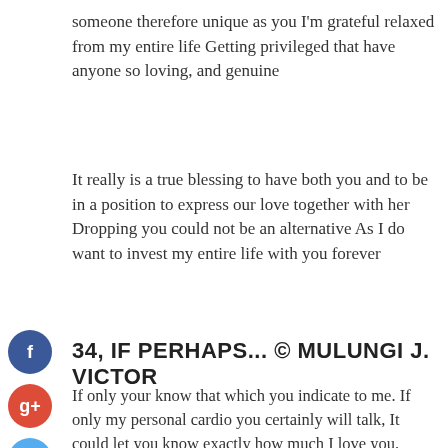someone therefore unique as you I'm grateful relaxed from my entire life Getting privileged that have anyone so loving, and genuine
It really is a true blessing to have both you and to be in a position to express our love together with her Dropping you could not be an alternative As I do want to invest my entire life with you forever
34, IF PERHAPS… © MULUNGI J. VICTOR
If only your know that which you indicate to me. If only my personal cardio you certainly will talk, It could let you know exactly how much I love you. Only if I could give you silver otherwise diamonds, However, oh, my beloved, I just have my cardio. We provide everyone. Just be mindful involved. Never crack they. If perhaps your know that you suggest The world if you ask me. Only if you realized which i in the morning willing To help you provide living for you. Then you